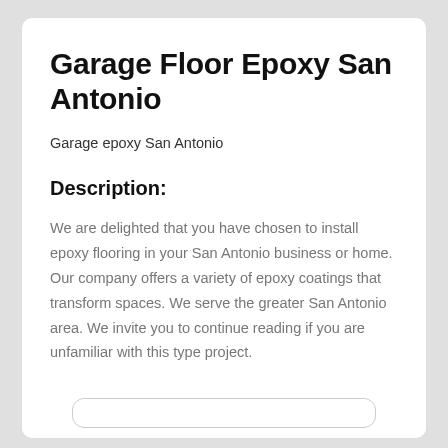Garage Floor Epoxy San Antonio
Garage epoxy San Antonio
Description:
We are delighted that you have chosen to install epoxy flooring in your San Antonio business or home. Our company offers a variety of epoxy coatings that transform spaces. We serve the greater San Antonio area. We invite you to continue reading if you are unfamiliar with this type project.